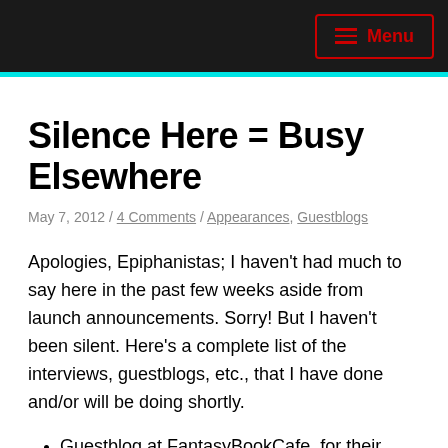Menu
Silence Here = Busy Elsewhere
May 7, 2012 / 4 Comments / Appearances, Guestblogs
Apologies, Epiphanistas; I haven't had much to say here in the past few weeks aside from launch announcements. Sorry! But I haven't been silent. Here's a complete list of the interviews, guestblogs, etc., that I have done and/or will be doing shortly.
Guestblog at FantasyBookCafe, for their